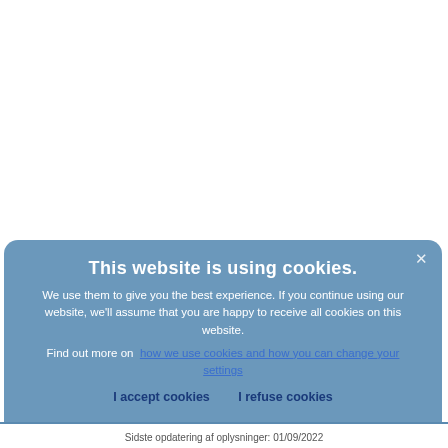[Figure (screenshot): White background area representing a webpage behind the cookie consent overlay]
This website is using cookies.
We use them to give you the best experience. If you continue using our website, we'll assume that you are happy to receive all cookies on this website.
Find out more on  how we use cookies and how you can change your settings
I accept cookies    I refuse cookies
Sidste opdatering af oplysninger: 01/09/2022